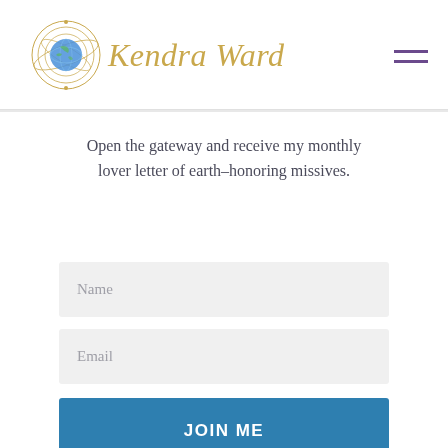[Figure (logo): Kendra Ward brand logo with circular orbital/celestial icon on the left and italic gold cursive 'Kendra Ward' text on the right]
Open the gateway and receive my monthly lover letter of earth-honoring missives.
Name
Email
JOIN ME